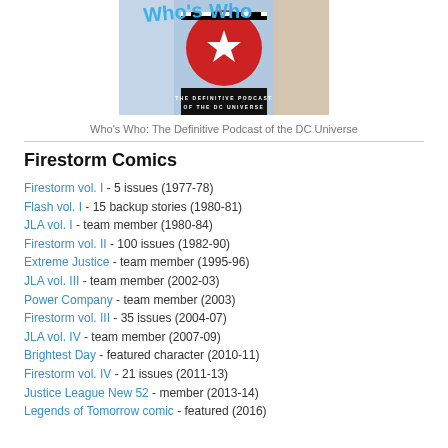[Figure (logo): Who's Who: The Definitive Podcast of the DC Universe logo image with colorful comic-style lettering and DC logo]
Who's Who: The Definitive Podcast of the DC Universe
Firestorm Comics
Firestorm vol. I - 5 issues (1977-78)
Flash vol. I - 15 backup stories (1980-81)
JLA vol. I - team member (1980-84)
Firestorm vol. II - 100 issues (1982-90)
Extreme Justice - team member (1995-96)
JLA vol. III - team member (2002-03)
Power Company - team member (2003)
Firestorm vol. III - 35 issues (2004-07)
JLA vol. IV - team member (2007-09)
Brightest Day - featured character (2010-11)
Firestorm vol. IV - 21 issues (2011-13)
Justice League New 52 - member (2013-14)
Legends of Tomorrow comic - featured (2016)